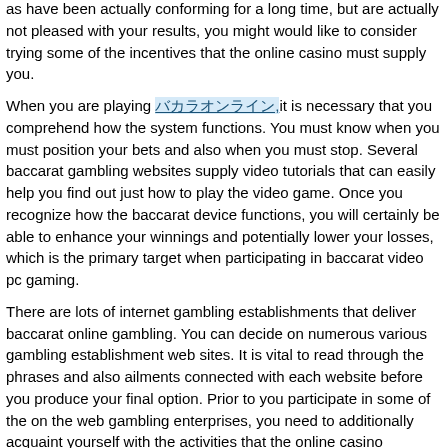as have been actually conforming for a long time, but are actually not pleased with your results, you might would like to consider trying some of the incentives that the online casino must supply you.
When you are playing [link text] it is necessary that you comprehend how the system functions. You must know when you must position your bets and also when you must stop. Several baccarat gambling websites supply video tutorials that can easily help you find out just how to play the video game. Once you recognize how the baccarat device functions, you will certainly be able to enhance your winnings and potentially lower your losses, which is the primary target when participating in baccarat video pc gaming.
There are lots of internet gambling establishments that deliver baccarat online gambling. You can decide on numerous various gambling establishment web sites. It is vital to read through the phrases and also ailments connected with each website before you produce your final option. Prior to you participate in some of the on the web gambling enterprises, you need to additionally acquaint yourself with the activities that the online casino supplies, because there might be actually unique demands affiliated with certain activities that will be actually given with a certain gambling establishment.